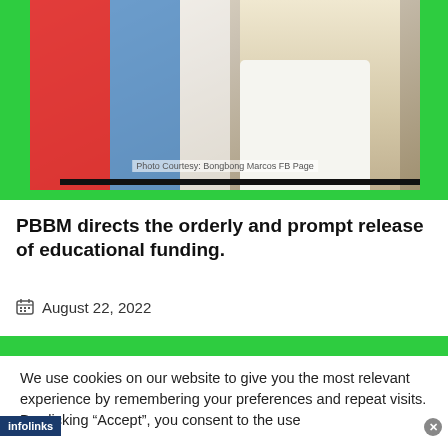[Figure (photo): Photo of a person (likely Bongbong Marcos) in a white shirt in front of Philippine flags with red, white, and blue colors. Caption reads 'Photo Courtesy: Bongbong Marcos FB Page']
PBBM directs the orderly and prompt release of educational funding.
August 22, 2022
We use cookies on our website to give you the most relevant experience by remembering your preferences and repeat visits. By clicking “Accept”, you consent to the use